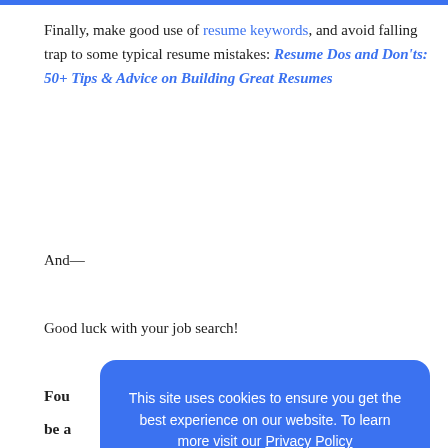Finally, make good use of resume keywords, and avoid falling trap to some typical resume mistakes: Resume Dos and Don'ts: 50+ Tips & Advice on Building Great Resumes
And—
Good luck with your job search!
Fou... be a... we'l... usin... com...
This site uses cookies to ensure you get the best experience on our website. To learn more visit our Privacy Policy
GOT IT!